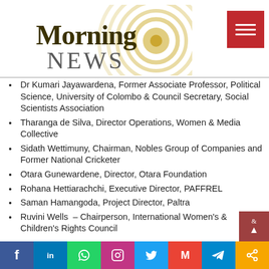[Figure (logo): Morning News logo with concentric golden circles background, dark olive 'Morning' text and grey 'NEWS' text, plus a dark red hamburger menu button top right]
Dr Kumari Jayawardena, Former Associate Professor, Political Science, University of Colombo & Council Secretary, Social Scientists Association
Tharanga de Silva, Director Operations, Women & Media Collective
Sidath Wettimuny, Chairman, Nobles Group of Companies and Former National Cricketer
Otara Gunewardene, Director, Otara Foundation
Rohana Hettiarachchi, Executive Director, PAFFREL
Saman Hamangoda, Project Director, Paltra
Ruvini Wells – Chairperson, International Women's & Children's Rights Council